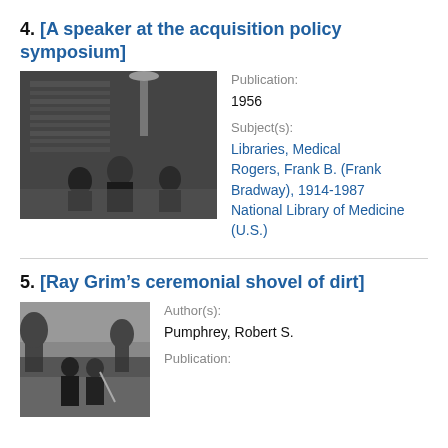4. [A speaker at the acquisition policy symposium]
[Figure (photo): Black and white photograph of a speaker at a podium at an acquisition policy symposium, with audience members visible and bookshelves in the background.]
Publication: 1956
Subject(s): Libraries, Medical Rogers, Frank B. (Frank Bradway), 1914-1987 National Library of Medicine (U.S.)
5. [Ray Grim’s ceremonial shovel of dirt]
[Figure (photo): Black and white photograph of Ray Grim's ceremonial shovel of dirt, people standing outdoors with trees in background.]
Author(s): Pumphrey, Robert S.
Publication: